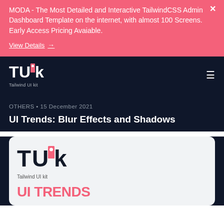MODA - The Most Detailed and Interactive TailwindCSS Admin Dashboard Template on the internet, with almost 100 Screens. Early Access Pricing Avaiable.
View Details →
[Figure (logo): Tailwind UI kit logo in navbar - TUk with red bookmark icon]
OTHERS • 15 December 2021
UI Trends: Blur Effects and Shadows
[Figure (logo): Tailwind UI kit logo in card - TUk with red bookmark icon, larger version]
Tailwind UI kit
UI TRENDS